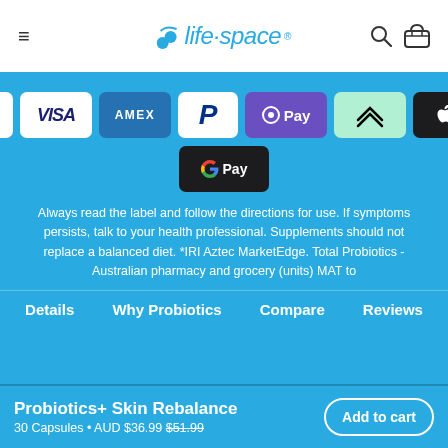life·space
[Figure (other): Payment method icons: Mastercard, Visa, Amex, PayPal, O Pay, Afterpay, Apple Pay, Google Pay]
Always read the label and follow the directions for use. If symptoms persists, talk to your health professional. Supplements should not replace a balanced diet. *IRI Aztec MarketEdge. Total Probiotics - Australian pharmacy and grocery (units) MAT to
Details   Why Probiotics   Compare   Reviews
Probiotics+ Skin Rebalance 30 Capsules • AUD $36.99 $51.99   Add to cart